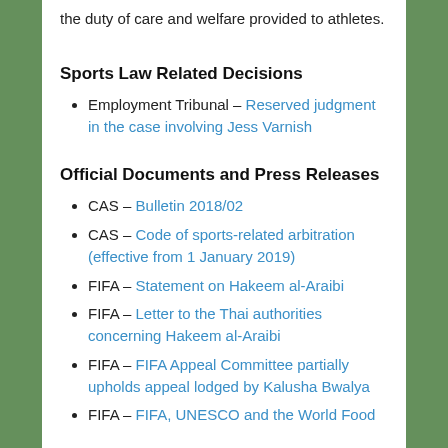the duty of care and welfare provided to athletes.
Sports Law Related Decisions
Employment Tribunal – Reserved judgment in the case involving Jess Varnish
Official Documents and Press Releases
CAS – Bulletin 2018/02
CAS – Code of sports-related arbitration (effective from 1 January 2019)
FIFA – Statement on Hakeem al-Araibi
FIFA – Letter to the Thai authorities concerning Hakeem al-Araibi
FIFA – FIFA Appeal Committee partially upholds appeal lodged by Kalusha Bwalya
FIFA – FIFA, UNESCO and the World Food